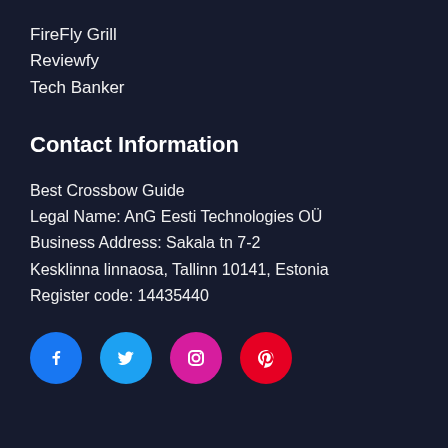FireFly Grill
Reviewfy
Tech Banker
Contact Information
Best Crossbow Guide
Legal Name: AnG Eesti Technologies OÜ
Business Address: Sakala tn 7-2
Kesklinna linnaosa, Tallinn 10141, Estonia
Register code: 14435440
[Figure (illustration): Row of four social media icons: Facebook (blue circle), Twitter (light blue circle), Instagram (magenta circle), Pinterest (red circle)]